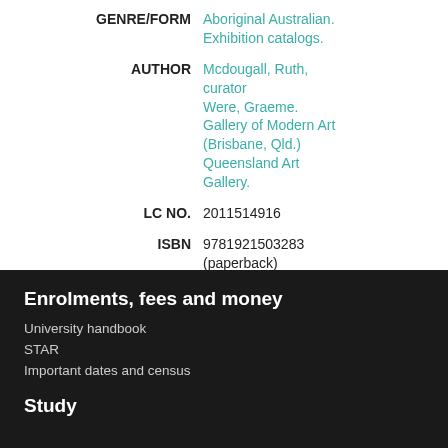| Field | Value |
| --- | --- |
| GENRE/FORM | Aboriginal Australian. Exhibition catalogs. |
| AUTHOR | Mcdougall, Ruth, curator
Were, Graeme.
Gallery of Modern Art (Brisbane, Qld.)
Queensland Art Gallery. |
| LC NO. | 2011514916 |
| ISBN | 9781921503283 (paperback) |
Enrolments, fees and money
University handbook
STAR
Important dates and census
Study